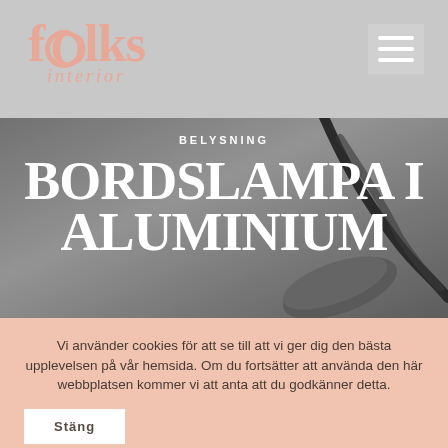fOlks interior
[Figure (screenshot): Website screenshot showing fOlks interior logo top left, hamburger menu top right, hero image of aluminium desk lamp with text BELYSNING and BORDSLAMPA I ALUMINIUM overlaid, and a cookie consent banner at the bottom]
BELYSNING
BORDSLAMPA I ALUMINIUM
Vi använder cookies för att se till att vi ger dig den bästa upplevelsen på vår hemsida. Om du fortsätter att använda den här webbplatsen kommer vi att anta att du godkänner detta.
Stäng